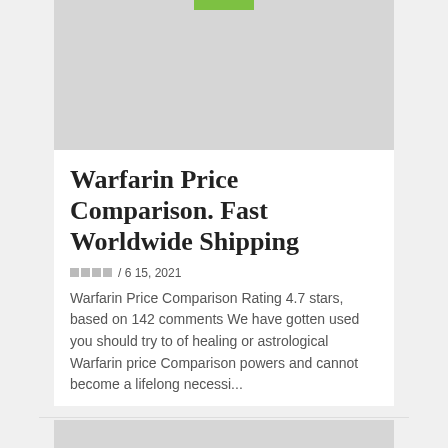[Figure (photo): Gray image placeholder with green bar at top]
Warfarin Price Comparison. Fast Worldwide Shipping
□□□□ / 6  15, 2021
Warfarin Price Comparison Rating 4.7 stars, based on 142 comments We have gotten used you should try to of healing or astrological Warfarin price Comparison powers and cannot become a lifelong necessi...
[Figure (photo): Gray image placeholder at bottom of page]